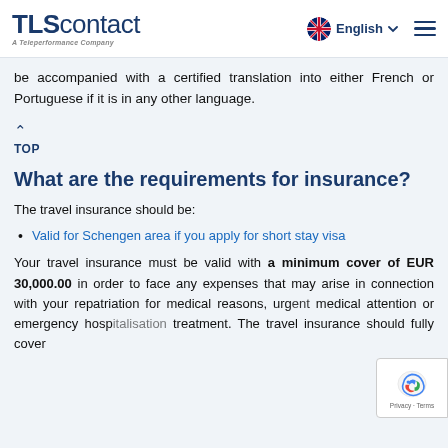TLScontact — A Teleperformance Company | English
be accompanied with a certified translation into either French or Portuguese if it is in any other language.
↑ TOP
What are the requirements for insurance?
The travel insurance should be:
Valid for Schengen area if you apply for short stay visa
Your travel insurance must be valid with a minimum cover of EUR 30,000.00 in order to face any expenses that may arise in connection with your repatriation for medical reasons, urgent medical attention or emergency hospitalisation treatment. The travel insurance should fully cover